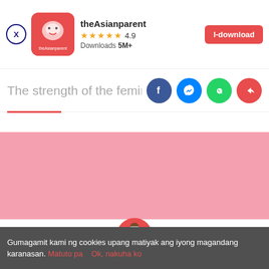[Figure (screenshot): theAsianparent app banner with icon, 4.9 rating, 5M+ downloads, and I-download button]
The strength of the feminine touch: E
[Figure (infographic): Pink advertisement block]
[Figure (infographic): Bottom navigation bar with Tools, Articles, Home (pregnant woman), Feed, Poll icons]
Gumagamit kami ng cookies upang matiyak ang iyong magandang karanasan. Matuto pa   Ok, nakuha ko